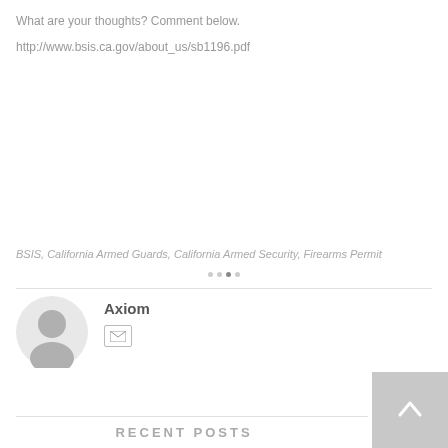What are your thoughts? Comment below.
http://www.bsis.ca.gov/about_us/sb1196.pdf
BSIS, California Armed Guards, California Armed Security, Firearms Permit
Axiom
RECENT POSTS